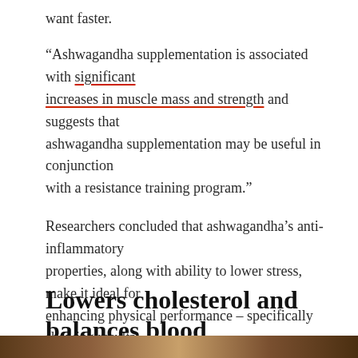want faster.
“Ashwagandha supplementation is associated with significant increases in muscle mass and strength and suggests that ashwagandha supplementation may be useful in conjunction with a resistance training program.”
Researchers concluded that ashwagandha’s anti-inflammatory properties, along with ability to lower stress, make it ideal for enhancing physical performance – specifically showing results in the area of endurance.
Lowers cholesterol and balances blood sugar levels
[Figure (photo): Bottom edge of a food/ingredient photo, partially visible]